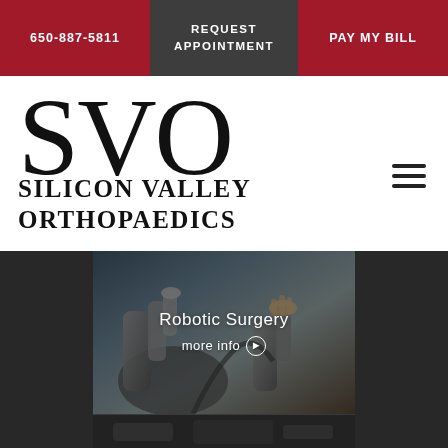650-887-5811   REQUEST APPOINTMENT   PAY MY BILL
SVO
SILICON VALLEY ORTHOPAEDICS
[Figure (photo): Robotic surgery equipment with hands operating controls, overlaid with text 'Robotic Surgery' and 'more info' button]
[Figure (photo): Partially visible dark image at the bottom of the page, continuation of hero image carousel]